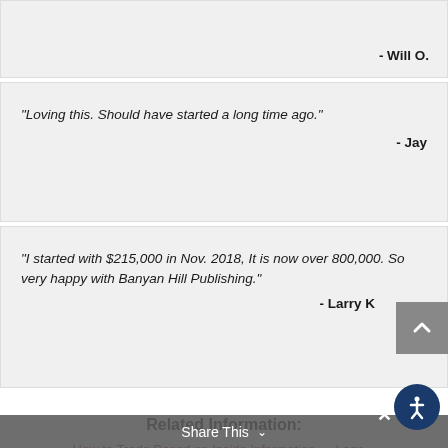- Will O.
“Loving this. Should have started a long time ago.”
- Jay
“I started with $215,000 in Nov. 2018, It is now over 800,000. So very happy with Banyan Hill Publishing.”
- Larry K
Related Information:
How to Trade Based on Inside Information — Lega...
How to Spot a Winning Stock Chart
Share This